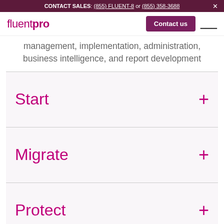CONTACT SALES: (855) FLUENT-8 or (855) 358-3688
[Figure (logo): FluentPro logo in magenta/purple color, with 'fluent' light weight and 'pro' bold weight]
management, implementation, administration, business intelligence, and report development
Start
Migrate
Protect